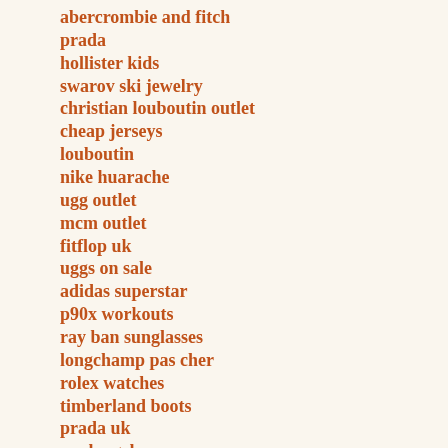abercrombie and fitch
prada
hollister kids
swarov ski jewelry
christian louboutin outlet
cheap jerseys
louboutin
nike huarache
ugg outlet
mcm outlet
fitflop uk
uggs on sale
adidas superstar
p90x workouts
ray ban sunglasses
longchamp pas cher
rolex watches
timberland boots
prada uk
sac longchamp
nike running shoes
ray-ban sunglasses
fake oakleys